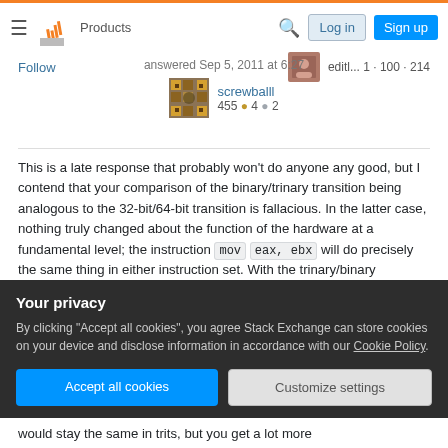≡  [Stack Overflow logo]  Products  🔍  Log in  Sign up
Follow
answered Sep 5, 2011 at 6:27
screwballl  455 ● 4 ● 2
This is a late response that probably won't do anyone any good, but I contend that your comparison of the binary/trinary transition being analogous to the 32-bit/64-bit transition is fallacious. In the latter case, nothing truly changed about the function of the hardware at a fundamental level; the instruction mov eax, ebx will do precisely the same thing in either instruction set. With the trinary/binary distinction, this is
Your privacy
By clicking "Accept all cookies", you agree Stack Exchange can store cookies on your device and disclose information in accordance with our Cookie Policy.
Accept all cookies  Customize settings
would stay the same in trits, but you get a lot more